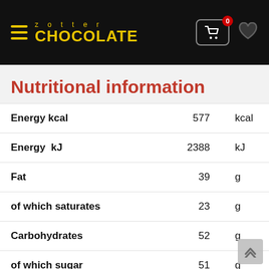zotter CHOCOLATE
Nutritional information
|  |  |  |
| --- | --- | --- |
| Energy kcal | 577 | kcal |
| Energy  kJ | 2388 | kJ |
| Fat | 39 | g |
| of which saturates | 23 | g |
| Carbohydrates | 52 | g |
| of which sugar | 51 | g |